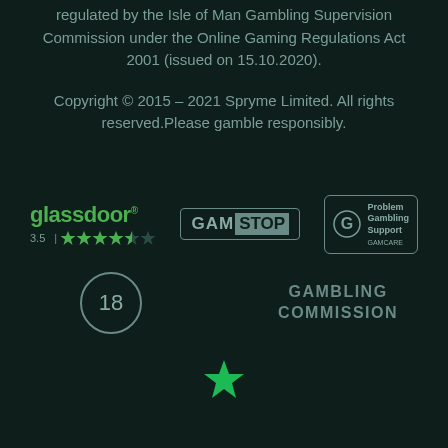regulated by the Isle of Man Gambling Supervision Commission under the Online Gaming Regulations Act 2001 (issued on 15.10.2020).
Copyright © 2015 – 2021 Spryme Limited. All rights reserved.Please gamble responsibly.
[Figure (logo): Glassdoor logo with green text and 3.5 star rating shown with green stars]
[Figure (logo): GamStop logo in a rectangular border]
[Figure (logo): GamCare Problem Gambling Support logo in a rectangular border]
[Figure (logo): 18+ age restriction circle icon]
[Figure (logo): Gambling Commission text logo]
[Figure (logo): Trustpilot green star logo]